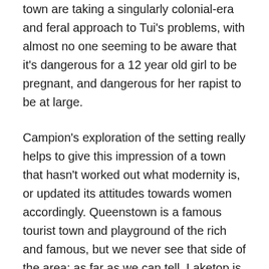town are taking a singularly colonial-era and feral approach to Tui's problems, with almost no one seeming to be aware that it's dangerous for a 12 year old girl to be pregnant, and dangerous for her rapist to be at large.
Campion's exploration of the setting really helps to give this impression of a town that hasn't worked out what modernity is, or updated its attitudes towards women accordingly. Queenstown is a famous tourist town and playground of the rich and famous, but we never see that side of the area: as far as we can tell, Laketop is a rundown and wild place in the middle of nowhere, a little cluster of huts hanging off of freezing, windy mountains and staring out at nothing. The children are wild, playing in canoes and on horses, keeping bones in their homes and wandering wild over the hills and forests, and Tui herself is feral to the point of being fey. The adults are also wild, but